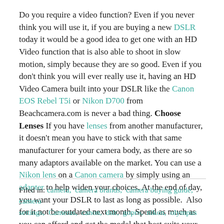Do you require a video function? Even if you never think you will use it, if you are buying a new DSLR today it would be a good idea to get one with an HD Video function that is also able to shoot in slow motion, simply because they are so good. Even if you don't think you will ever really use it, having an HD Video Camera built into your DSLR like the Canon EOS Rebel T5i or Nikon D700 from Beachcamera.com is never a bad thing. Choose Lenses If you have lenses from another manufacturer, it doesn't mean you have to stick with that same manufacturer for your camera body, as there are so many adaptors available on the market. You can use a Nikon lens on a Canon camera by simply using an adapter to help widen your choices. At the end of day, you want your DSLR to last as long as possible.  Also for it not be outdated next month. Spend as much as you can afford and get the model that best suits your needs.
Filed in:  camera,  camera brands,  camera buying guide,  camera settings,  Cameras,  canon,  dslr,  gopro,  nikon,  olympus